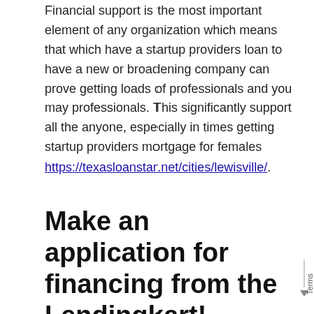Financial support is the most important element of any organization which means that which have a startup providers loan to have a new or broadening company can prove getting loads of professionals and you may professionals. This significantly support all the anyone, especially in times getting startup providers mortgage for females https://texasloanstar.net/cities/lewisville/.
Make an application for financing from the Lendingkart!
We at Lendingkart promote multiple sorts of one another working capital mortgage and loans and then have lies the latest setting once the to help you ways